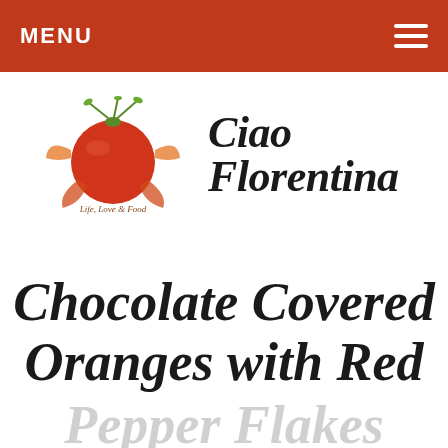MENU
[Figure (logo): Ciao Florentina website logo with tomato/herb illustration and italic bold text 'Ciao Florentina']
Chocolate Covered Oranges with Red Pepper Flakes